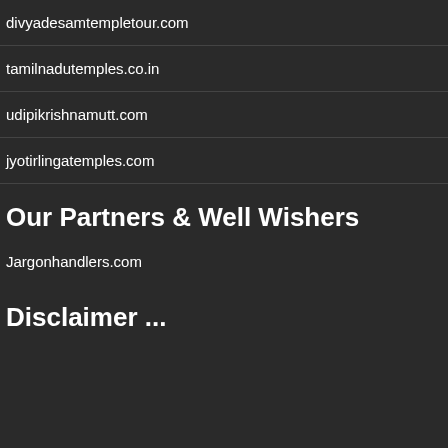divyadesamtempletour.com
tamilnadutemples.co.in
udipikrishnamutt.com
jyotirlingatemples.com
Our Partners & Well Wishers
Jargonhandlers.com
Disclaimer ...